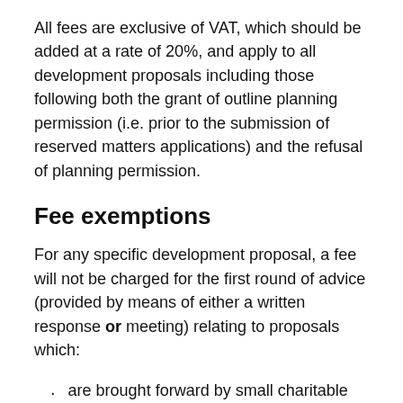All fees are exclusive of VAT, which should be added at a rate of 20%, and apply to all development proposals including those following both the grant of outline planning permission (i.e. prior to the submission of reserved matters applications) and the refusal of planning permission.
Fee exemptions
For any specific development proposal, a fee will not be charged for the first round of advice (provided by means of either a written response or meeting) relating to proposals which:
are brought forward by small charitable organisations that are based within Warwick district where the proposal either falls within tiers 2 to 3 or where larger schemes falling within tiers 4 to 6 are